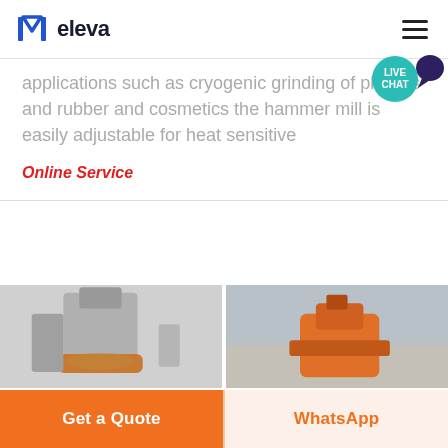eleva
applications such as cryogenic grinding of plastics and rubber and cosmetics the hammer mill is easily adjustable for heat sensitive
Online Service
[Figure (photo): Industrial grinding/milling machine, silver and orange colored, photographed in a facility]
[Figure (photo): Orange industrial machine photographed outdoors against a grey sky]
Get a Quote
WhatsApp